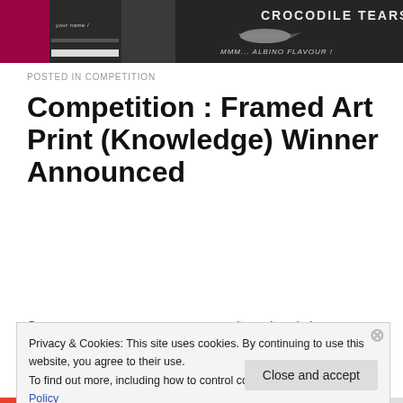[Figure (photo): Close-up photo of dark bottles, one labeled 'Crocodile Tears' with 'MMM... Albino Flavour!' on a dark background with a pink/magenta accent on the left side.]
POSTED IN COMPETITION
Competition : Framed Art Print (Knowledge) Winner Announced
Privacy & Cookies: This site uses cookies. By continuing to use this website, you agree to their use.
To find out more, including how to control cookies, see here: Cookie Policy
Close and accept